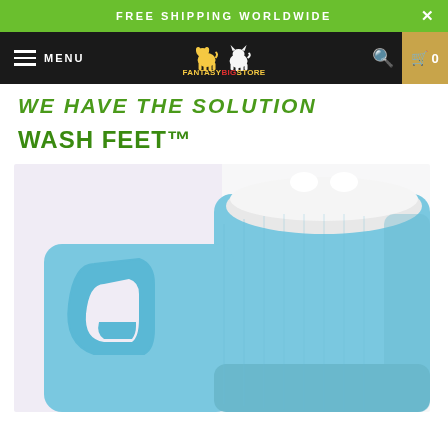FREE SHIPPING WORLDWIDE
[Figure (screenshot): Navigation bar with hamburger menu, MENU label, FantasyBigStore logo with dog and cat icons, search icon, and cart icon with 0 count]
WE HAVE THE SOLUTION
WASH FEET™
[Figure (photo): Close-up product photo of a blue plastic foot washing bucket/basin with a handle, white lid with small protrusions, shown against a light lavender/white background]